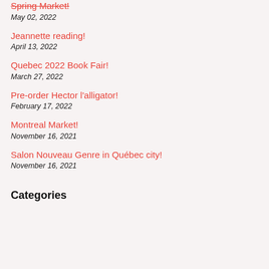Spring Market!
May 02, 2022
Jeannette reading!
April 13, 2022
Quebec 2022 Book Fair!
March 27, 2022
Pre-order Hector l'alligator!
February 17, 2022
Montreal Market!
November 16, 2021
Salon Nouveau Genre in Québec city!
November 16, 2021
Categories